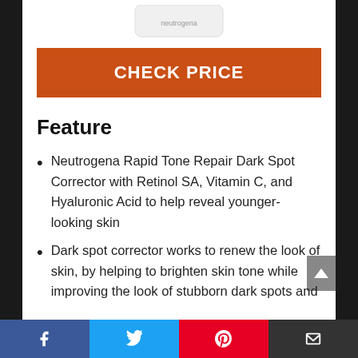[Figure (photo): Partial product image of a white skincare bottle (Neutrogena) at top of page]
CHECK PRICE
Feature
Neutrogena Rapid Tone Repair Dark Spot Corrector with Retinol SA, Vitamin C, and Hyaluronic Acid to help reveal younger-looking skin
Dark spot corrector works to renew the look of skin, by helping to brighten skin tone while improving the look of stubborn dark spots and
Facebook  Twitter  Pinterest  Email (social share bar)